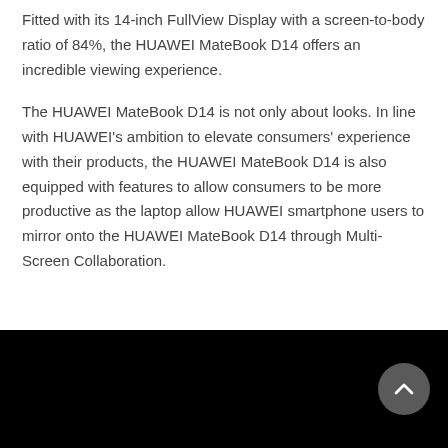Fitted with its 14-inch FullView Display with a screen-to-body ratio of 84%, the HUAWEI MateBook D14 offers an incredible viewing experience.
The HUAWEI MateBook D14 is not only about looks. In line with HUAWEI's ambition to elevate consumers' experience with their products, the HUAWEI MateBook D14 is also equipped with features to allow consumers to be more productive as the laptop allow HUAWEI smartphone users to mirror onto the HUAWEI MateBook D14 through Multi-Screen Collaboration.
[Figure (other): Black video/image area with a circular scroll-to-top button in the bottom right corner]